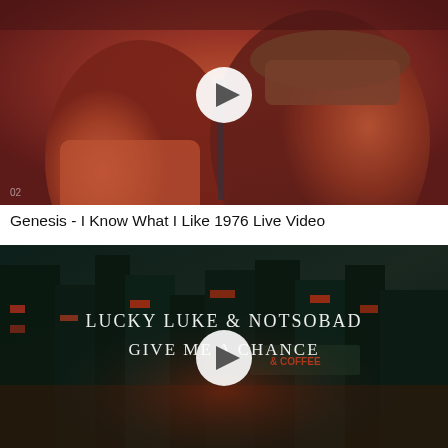[Figure (photo): Video thumbnail showing two people singing into a microphone on stage under warm orange-red lighting, with a white circular play button overlay in the center. A small '02' watermark is visible in the lower left corner.]
Genesis - I Know What I Like 1976 Live Video
[Figure (photo): Video thumbnail with dark teal/red urban nighttime scene showing a street with storefront signs including '& COFFEE', with stylized text overlay reading 'Lucky Luke & NOTSOBAD Give Me A Chance' and a white circular play button overlay in the center.]